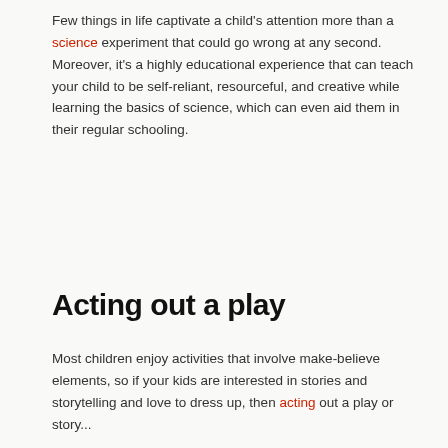Few things in life captivate a child's attention more than a science experiment that could go wrong at any second. Moreover, it's a highly educational experience that can teach your child to be self-reliant, resourceful, and creative while learning the basics of science, which can even aid them in their regular schooling.
Acting out a play
Most children enjoy activities that involve make-believe elements, so if your kids are interested in stories and storytelling and love to dress up, then acting out a story...